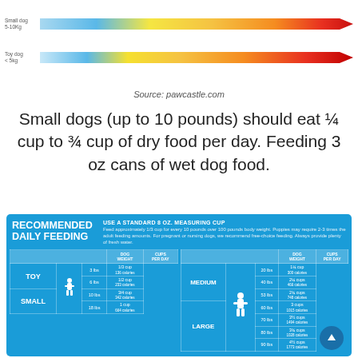[Figure (infographic): Two horizontal gradient arrows (blue to red/orange) indicating feeding amounts for small dogs (5-10kg) and toy dogs (<5kg). Labels on left of each arrow.]
Source: pawcastle.com
Small dogs (up to 10 pounds) should eat ¼ cup to ¾ cup of dry food per day. Feeding 3 oz cans of wet dog food.
[Figure (infographic): Recommended Daily Feeding infographic on blue background. Instructs to use a standard 8 oz measuring cup. Feed approximately 1/3 cup for every 10 pounds over 100 pounds body weight. Table shows TOY, SMALL, MEDIUM, LARGE dog categories with dog weight and cups per day columns.]